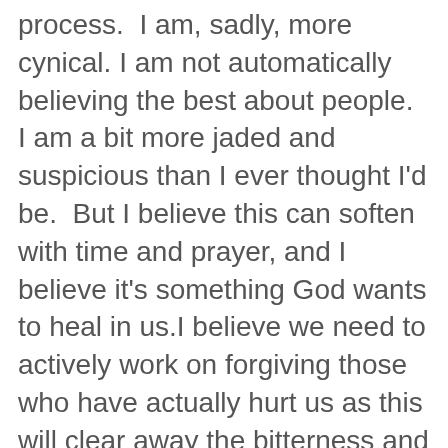process.  I am, sadly, more cynical. I am not automatically believing the best about people.  I am a bit more jaded and suspicious than I ever thought I'd be.  But I believe this can soften with time and prayer, and I believe it's something God wants to heal in us.I believe we need to actively work on forgiving those who have actually hurt us as this will clear away the bitterness and can restore a freedom and a balance to how we perceive people.  But a word of warning: I am not saying forgive-and-forget.  I am saying forgive.  I think God wants us to remember, in part, some of the pain we've been through so we don't keep walking into the same mistakes over and over again.This means I think we can ask God to help us know who we can